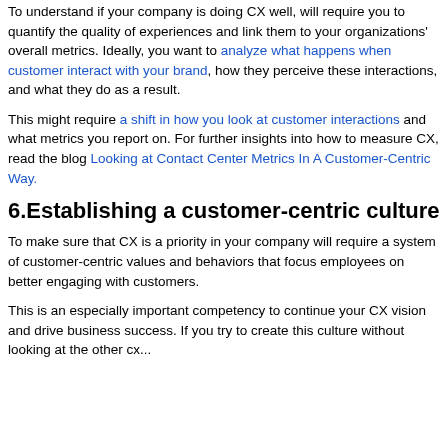To understand if your company is doing CX well, will require you to quantify the quality of experiences and link them to your organizations' overall metrics. Ideally, you want to analyze what happens when customer interact with your brand, how they perceive these interactions, and what they do as a result.
This might require a shift in how you look at customer interactions and what metrics you report on. For further insights into how to measure CX, read the blog Looking at Contact Center Metrics In A Customer-Centric Way.
6.Establishing a customer-centric culture
To make sure that CX is a priority in your company will require a system of customer-centric values and behaviors that focus employees on better engaging with customers.
This is an especially important competency to continue your CX vision and drive business success. If you try to create this culture without looking at the other cx...